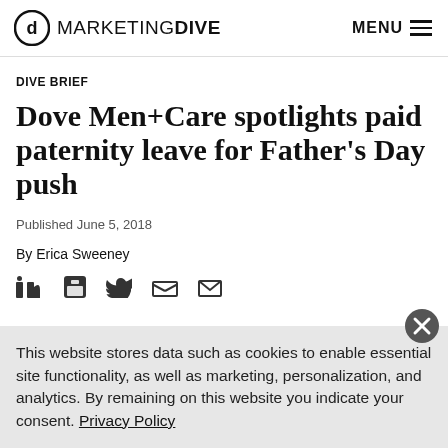MARKETING DIVE | MENU
DIVE BRIEF
Dove Men+Care spotlights paid paternity leave for Father's Day push
Published June 5, 2018
By Erica Sweeney
This website stores data such as cookies to enable essential site functionality, as well as marketing, personalization, and analytics. By remaining on this website you indicate your consent. Privacy Policy